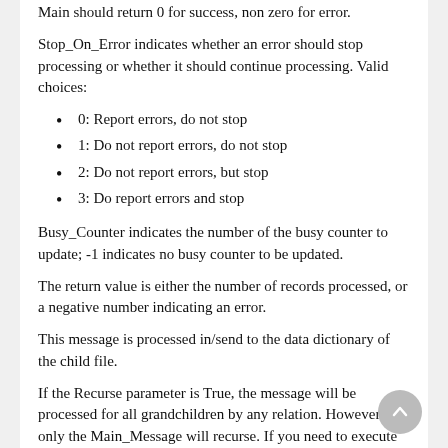Main should return 0 for success, non zero for error.
Stop_On_Error indicates whether an error should stop processing or whether it should continue processing. Valid choices:
0: Report errors, do not stop
1: Do not report errors, do not stop
2: Do not report errors, but stop
3: Do report errors and stop
Busy_Counter indicates the number of the busy counter to update; -1 indicates no busy counter to be updated.
The return value is either the number of records processed, or a negative number indicating an error.
This message is processed in/send to the data dictionary of the child file.
If the Recurse parameter is True, the message will be processed for all grandchildren by any relation. However, only the Main_Message will recurse. If you need to execute pre- or post-messages on other